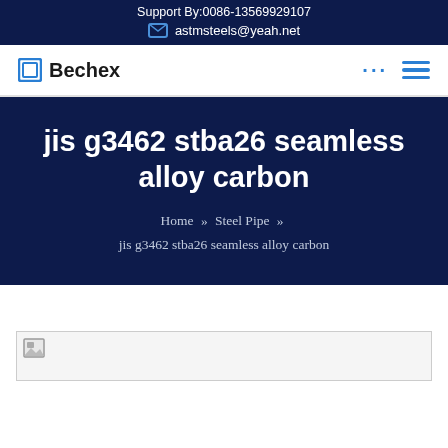Support By:0086-13569929107
✉ astmsteels@yeah.net
Bechex
jis g3462 stba26 seamless alloy carbon
Home » Steel Pipe » jis g3462 stba26 seamless alloy carbon
[Figure (photo): Broken image placeholder at bottom of page]